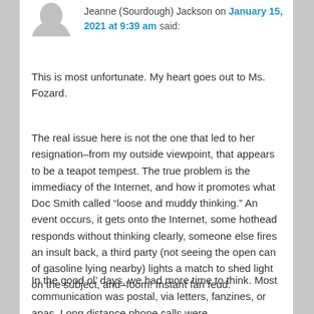[Figure (photo): Circular user avatar/profile image placeholder, partially visible at top]
Jeanne (Sourdough) Jackson on January 15, 2021 at 9:39 am said:
This is most unfortunate. My heart goes out to Ms. Fozard.
The real issue here is not the one that led to her resignation–from my outside viewpoint, that appears to be a teapot tempest. The true problem is the immediacy of the Internet, and how it promotes what Doc Smith called “loose and muddy thinking.” An event occurs, it gets onto the Internet, some hothead responds without thinking clearly, someone else fires an insult back, a third party (not seeing the open can of gasoline lying nearby) lights a match to shed light on the subject, and–foom! Instant fan feud.
In the good ol’ days, we had more time to think. Most communication was postal, via letters, fanzines, or apas. Long distance phone calls were